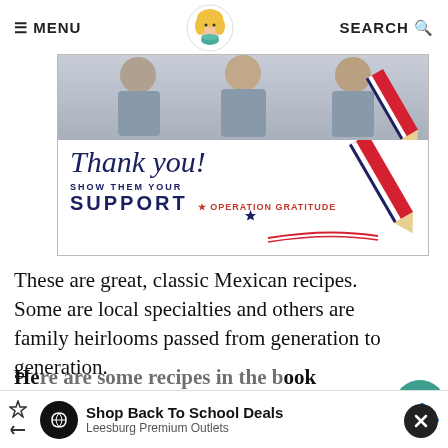≡ MENU   [logo]   SEARCH 🔍
[Figure (photo): Advertisement image showing people in gray uniforms at top, overlaid with cursive 'Thank you!' text and a red-white-and-blue pencil graphic, with 'SHOW THEM YOUR SUPPORT' and 'OPERATION GRATITUDE' branding below.]
These are great, classic Mexican recipes. Some are local specialties and others are family heirlooms passed from generation to generation.
Here are some recipes in the book th...
[Figure (infographic): Bottom advertisement bar: 'Shop Back To School Deals' / 'Leesburg Premium Outlets' with navigation icons.]